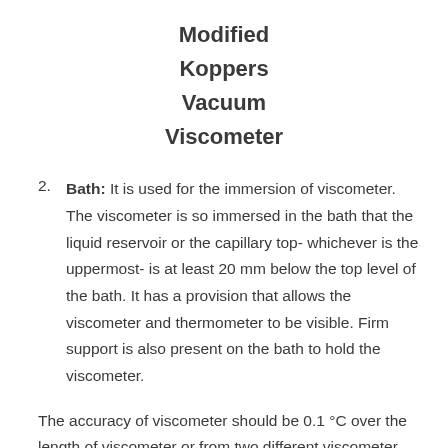Modified Koppers Vacuum Viscometer
Bath: It is used for the immersion of viscometer. The viscometer is so immersed in the bath that the liquid reservoir or the capillary top- whichever is the uppermost- is at least 20 mm below the top level of the bath. It has a provision that allows the viscometer and thermometer to be visible. Firm support is also present on the bath to hold the viscometer.
The accuracy of viscometer should be 0.1 °C over the length of viscometer or from two different viscometer